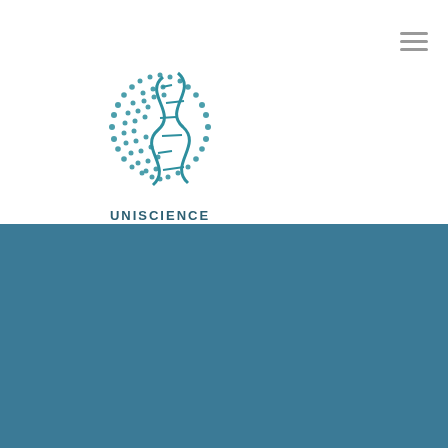[Figure (logo): Uniscience Publishers logo on white background: globe made of dots with DNA helix, teal color. Text UNISCIENCE PUBLISHERS below.]
[Figure (logo): Hamburger menu icon (three horizontal lines) in top right corner.]
[Figure (logo): Uniscience Publishers logo on teal background: globe made of dots with DNA helix, white color. Text UNISCIENCE PUBLISHERS below.]
WhatsApp Us
Home
Open Access
Journals
PPTs
Guidelines
Submit ManuScript
Members